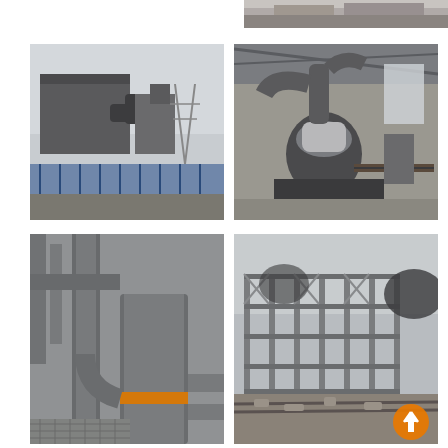[Figure (photo): Industrial facility exterior with dust collector equipment and metal structures, partially visible at top right]
[Figure (photo): Outdoor industrial plant exterior showing large dust collector/bag house unit with ductwork and metal fencing in foreground]
[Figure (photo): Indoor industrial hall showing large vertical mill/grinding machine with ductwork, conveyor systems inside a steel-framed building]
[Figure (photo): Close-up of industrial piping and cyclone separator equipment with grey pipes and orange band, metal grating floor]
[Figure (photo): Outdoor construction site showing steel frame structure of industrial building under construction with rubble and tracks in foreground]